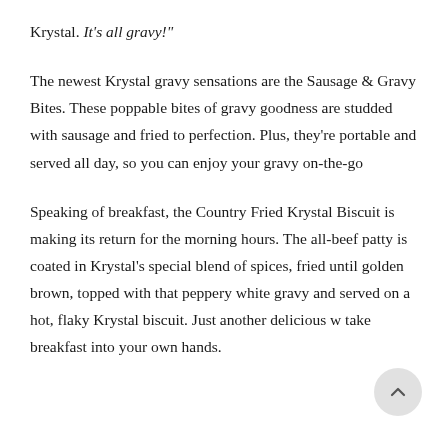Krystal. It's all gravy!"
The newest Krystal gravy sensations are the Sausage & Gravy Bites. These poppable bites of gravy goodness are studded with sausage and fried to perfection. Plus, they're portable and served all day, so you can enjoy your gravy on-the-go
Speaking of breakfast, the Country Fried Krystal Biscuit is making its return for the morning hours. The all-beef patty is coated in Krystal's special blend of spices, fried until golden brown, topped with that peppery white gravy and served on a hot, flaky Krystal biscuit. Just another delicious w take breakfast into your own hands.